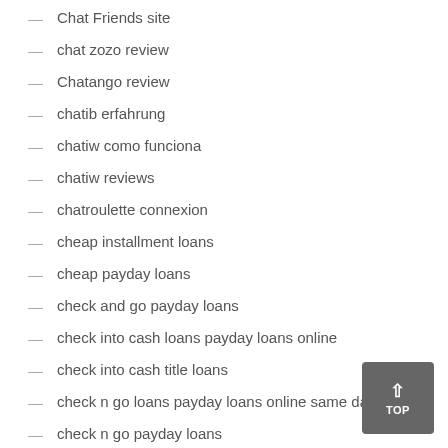Chat Friends site
chat zozo review
Chatango review
chatib erfahrung
chatiw como funciona
chatiw reviews
chatroulette connexion
cheap installment loans
cheap payday loans
check and go payday loans
check into cash loans payday loans online
check into cash title loans
check n go loans payday loans online same day
check n go payday loans